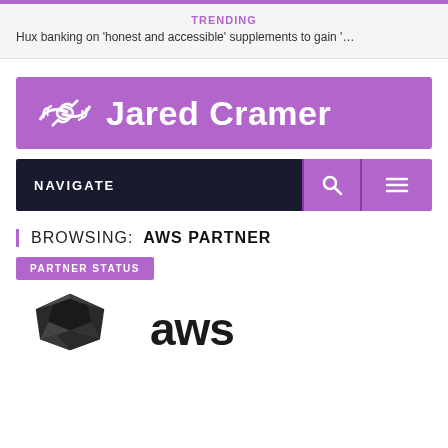TRENDING
Hux banking on 'honest and accessible' supplements to gain '…
[Figure (logo): Jared Cramer logo banner with handshake icon on purple background]
[Figure (screenshot): Navigation bar with NAVIGATE label, search icon, and hamburger menu on dark background with purple buttons]
BROWSING: AWS PARTNER
PARTNER STATUS
[Figure (logo): AWS partner logo with dark geometric shield shape and 'aws' text in dark color]